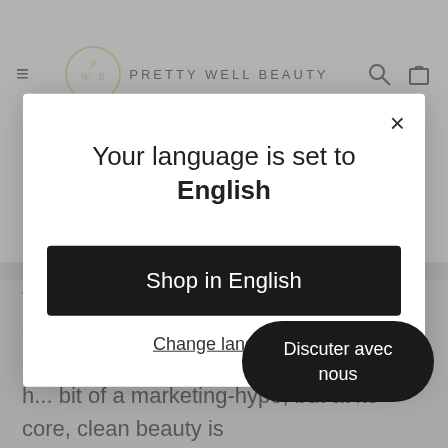PRETTY WELL BEAUTY
clean beauty, I don't know what will! Now, this is where I found myself a bit stuck. I knew that I should steer
[Figure (screenshot): Language selection modal dialog with title 'Your language is set to English', a black 'Shop in English' button, and a 'Change language' link. Close (X) button in top right corner.]
that's another blog for another day. As celebrity makeup artist and clean beauty con... Denno @kateydenno said," it may h... bit of a marketing-hype, but at its core, clean beauty is
Discuter avec nous